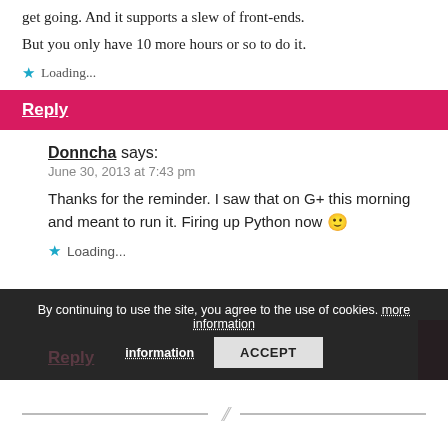get going. And it supports a slew of front-ends.
But you only have 10 more hours or so to do it.
Loading...
Reply
Donncha says:
June 30, 2013 at 7:43 pm
Thanks for the reminder. I saw that on G+ this morning and meant to run it. Firing up Python now 🙂
Loading...
By continuing to use the site, you agree to the use of cookies. more information
ACCEPT
Reply